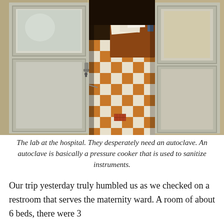[Figure (photo): A photograph of the lab at a hospital, showing old weathered white double doors partially open, revealing a checkered orange and white tile floor and a wooden desk with papers on it inside.]
The lab at the hospital. They desperately need an autoclave. An autoclave is basically a pressure cooker that is used to sanitize instruments.
Our trip yesterday truly humbled us as we checked on a restroom that serves the maternity ward. A room of about 6 beds, there were 3